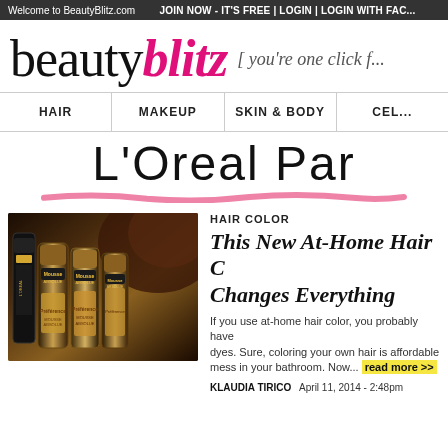Welcome to BeautyBlitz.com | JOIN NOW - IT'S FREE | LOGIN | LOGIN WITH FACEBOOK
beautyblitz [ you're one click f...
HAIR | MAKEUP | SKIN & BODY | CEL...
L'Oreal Par
[Figure (photo): L'Oreal Preference Mousse Absolue hair color product bottles]
HAIR COLOR
This New At-Home Hair C Changes Everything
If you use at-home hair color, you probably have dyes. Sure, coloring your own hair is affordable mess in your bathroom. Now... read more >>
KLAUDIA TIRICO   April 11, 2014 - 2:48pm